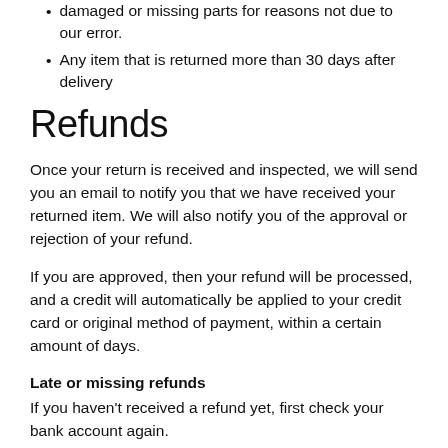damaged or missing parts for reasons not due to our error.
Any item that is returned more than 30 days after delivery
Refunds
Once your return is received and inspected, we will send you an email to notify you that we have received your returned item. We will also notify you of the approval or rejection of your refund.
If you are approved, then your refund will be processed, and a credit will automatically be applied to your credit card or original method of payment, within a certain amount of days.
Late or missing refunds
If you haven't received a refund yet, first check your bank account again.